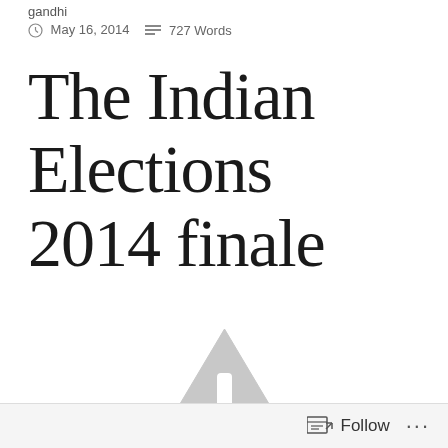gandhi
May 16, 2014    727 Words
The Indian Elections 2014 finale
[Figure (illustration): A large light gray warning/caution triangle icon with an exclamation mark inside, partially cropped at the bottom of the page.]
Follow ...